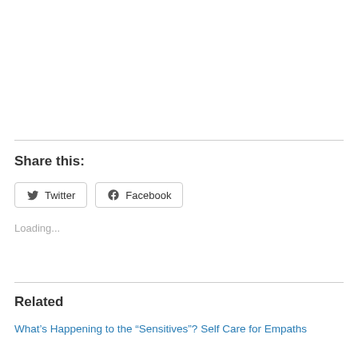Share this:
Twitter  Facebook
Loading...
Related
What's Happening to the “Sensitives”? Self Care for Empaths